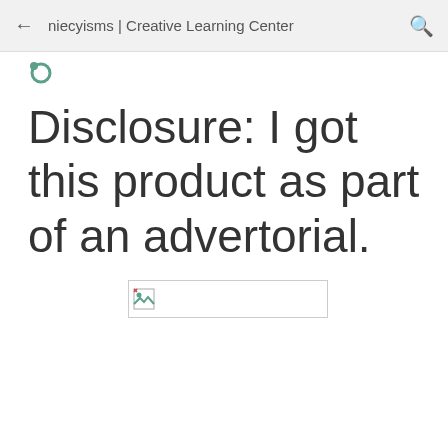niecyisms | Creative Learning Center
[Figure (logo): Partial logo mark visible at top left of page content area]
Disclosure: I got this product as part of an advertorial.
[Figure (photo): Broken/unloaded image placeholder with small broken image icon]